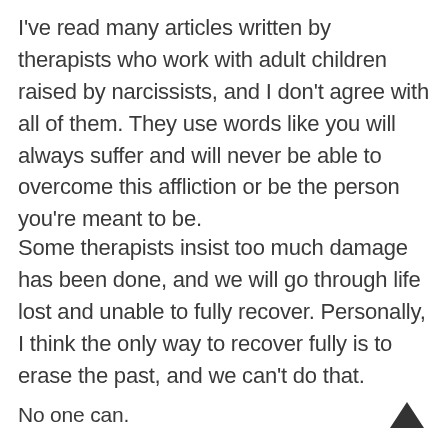I've read many articles written by therapists who work with adult children raised by narcissists, and I don't agree with all of them. They use words like you will always suffer and will never be able to overcome this affliction or be the person you're meant to be.
Some therapists insist too much damage has been done, and we will go through life lost and unable to fully recover. Personally, I think the only way to recover fully is to erase the past, and we can't do that.
No one can.